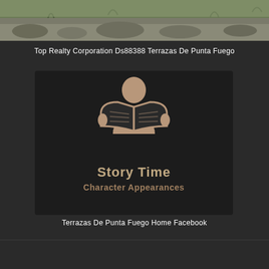[Figure (photo): Outdoor terrain/landscape photo strip at top of page, showing rocky ground with sparse vegetation]
Top Realty Corporation Ds88388 Terrazas De Punta Fuego
[Figure (logo): Dark square card with tan/brown icon of a person reading a book, text 'Story Time' and 'Character Appearances' below]
Terrazas De Punta Fuego Home Facebook